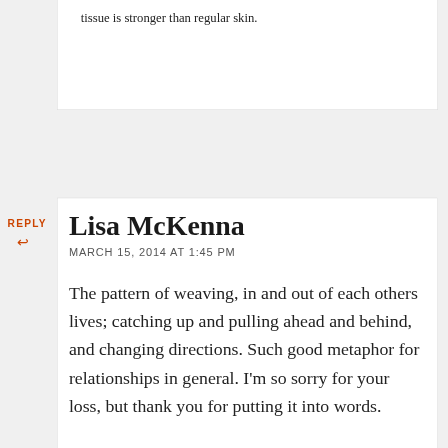tissue is stronger than regular skin.
REPLY
Lisa McKenna
MARCH 15, 2014 AT 1:45 PM
The pattern of weaving, in and out of each others lives; catching up and pulling ahead and behind, and changing directions. Such good metaphor for relationships in general. I'm so sorry for your loss, but thank you for putting it into words.
REPLY
Kevin P. Henry
MARCH 15, 2014 AT 2:11 PM